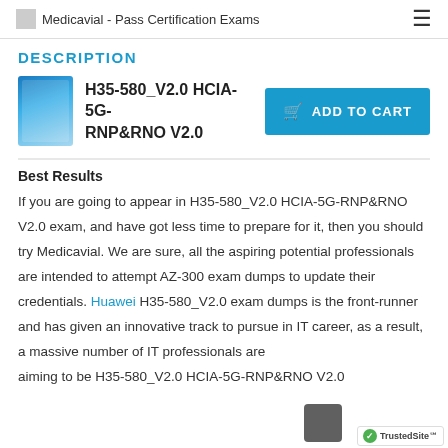Medicavial - Pass Certification Exams
DESCRIPTION
H35-580_V2.0 HCIA-5G-RNP&RNO V2.0
Best Results
If you are going to appear in H35-580_V2.0 HCIA-5G-RNP&RNO V2.0 exam, and have got less time to prepare for it, then you should try Medicavial. We are sure, all the aspiring potential professionals are intended to attempt AZ-300 exam dumps to update their credentials. Huawei H35-580_V2.0 exam dumps is the front-runner and has given an innovative track to pursue in IT career, as a result, a massive number of IT professionals are aiming to be H35-580_V2.0 HCIA-5G-RNP&RNO V2.0